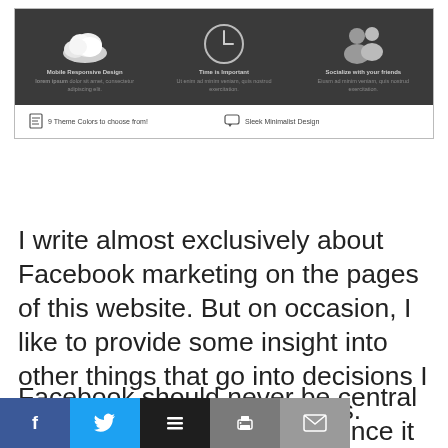[Figure (screenshot): A website theme preview showing a dark banner with three feature columns (Mobile Responsive Design with cloud icon, Time is Important with clock icon, Socialize with your friends with people icon) and a light bar below with '9 Theme Colors to choose from!' and 'Sleek Minimalist Design']
I write almost exclusively about Facebook marketing on the pages of this website. But on occasion, I like to provide some insight into other things that go into decisions I make for my online business.
Facebook should never be central to your marketing strategy since it is outside of
[Figure (infographic): Social sharing bar with Facebook (blue), Twitter (cyan), Buffer (black), Print (gray), and Email (gray) buttons]